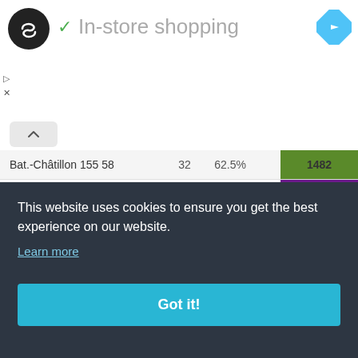[Figure (logo): App logo - black circle with infinity/loop icon]
✓ In-store shopping
[Figure (other): Blue diamond navigation/directions icon]
▷
X
| Name | Count | Percent | Value |
| --- | --- | --- | --- |
| Bat.-Châtillon 155 58 | 32 | 62.5% | 1482 |
| Bat.-Châtillon 12 t | 4 | 75% | 3394 |
| AT 8 | 73 | 42.47% | 308 |
| AT 2 | 90 | 57.78% | 1079 |
|  |  |  | 89 |
|  |  |  | 45 |
|  |  |  | 5 |
|  |  |  | 51 |
| AMX 30 t oth (155) | 75 | 80% | 1414 |
This website uses cookies to ensure you get the best experience on our website.
Learn more
Got it!